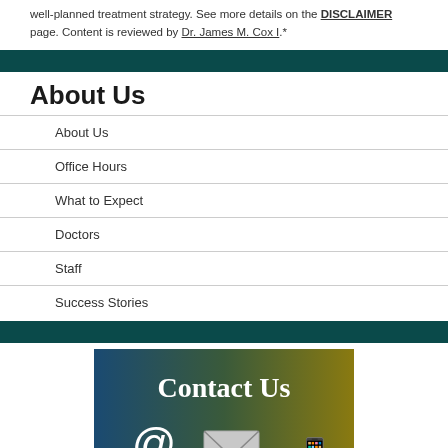well-planned treatment strategy. See more details on the DISCLAIMER page. Content is reviewed by Dr. James M. Cox I.*
About Us
About Us
Office Hours
What to Expect
Doctors
Staff
Success Stories
[Figure (illustration): Contact Us banner image with gradient background (blue to gold/olive) showing large white text 'Contact Us' with icons: @ symbol, envelope, and phone/fax icons below]